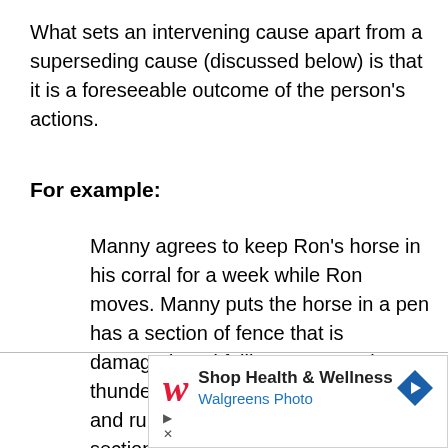What sets an intervening cause apart from a superseding cause (discussed below) is that it is a foreseeable outcome of the person's actions.
For example:
Manny agrees to keep Ron's horse in his corral for a week while Ron moves. Manny puts the horse in a pen has a section of fence that is damaged, and falling apart. During a thunder storm, the horse is spooked, and runs through the damaged section, breaking his leg so severely that he has to be put down. In this
[Figure (other): Walgreens advertisement: Shop Health & Wellness - Walgreens Photo, with Walgreens W logo and navigation arrow icon]